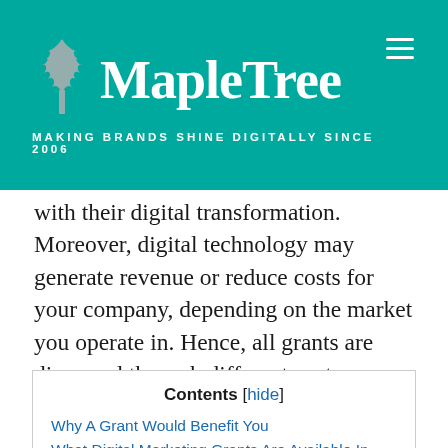MapleTree — MAKING BRANDS SHINE DIGITALLY SINCE 2006
with their digital transformation. Moreover, digital technology may generate revenue or reduce costs for your company, depending on the market you operate in. Hence, all grants are dispersed through different routes. Therefore, it is critical to understand which Singapore grants are best suited to your company's needs.
Contents [hide]
Why A Grant Would Benefit You
What Digital Marketing Grants Are Available In Singapore?
1. Productivity Solutions Grant (PSG)